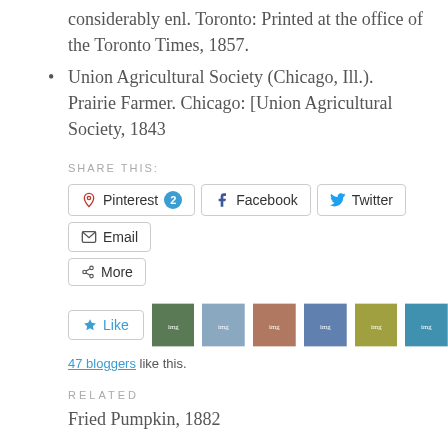considerably enl. Toronto: Printed at the office of the Toronto Times, 1857.
Union Agricultural Society (Chicago, Ill.). Prairie Farmer. Chicago: [Union Agricultural Society, 1843
SHARE THIS:
Pinterest 2  Facebook  Twitter  Email  More
[Figure (screenshot): Like button and blogger avatar thumbnails row with '47 bloggers like this.' text]
47 bloggers like this.
RELATED
Fried Pumpkin, 1882